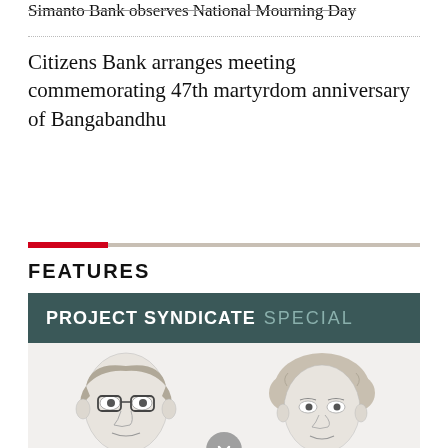Simanto Bank observes National Mourning Day
Citizens Bank arranges meeting commemorating 47th martyrdom anniversary of Bangabandhu
FEATURES
[Figure (illustration): PROJECT SYNDICATE SPECIAL banner with two illustrated portrait sketches of people below it, and a scroll/chevron button at bottom center]
PROJECT SYNDICATE SPECIAL